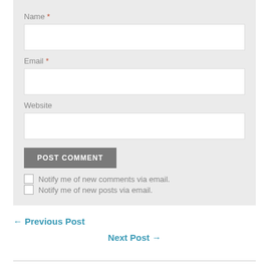Name *
Email *
Website
POST COMMENT
Notify me of new comments via email.
Notify me of new posts via email.
← Previous Post
Next Post →